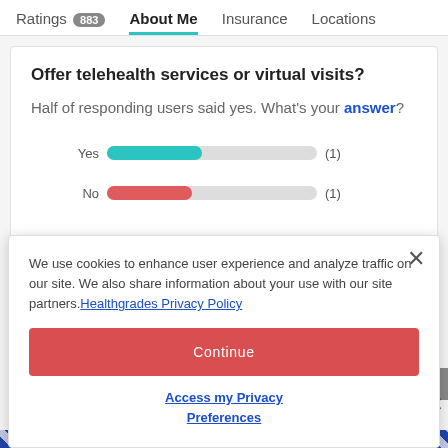Ratings 883  About Me  Insurance  Locations
Offer telehealth services or virtual visits?
Half of responding users said yes. What's your answer?
[Figure (bar-chart): Telehealth Yes/No responses]
We use cookies to enhance user experience and analyze traffic on our site. We also share information about your use with our site partners. Healthgrades Privacy Policy
Continue
Access my Privacy Preferences